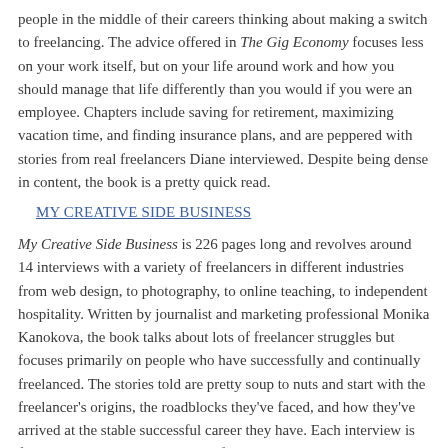people in the middle of their careers thinking about making a switch to freelancing. The advice offered in The Gig Economy focuses less on your work itself, but on your life around work and how you should manage that life differently than you would if you were an employee. Chapters include saving for retirement, maximizing vacation time, and finding insurance plans, and are peppered with stories from real freelancers Diane interviewed. Despite being dense in content, the book is a pretty quick read.
MY CREATIVE SIDE BUSINESS
My Creative Side Business is 226 pages long and revolves around 14 interviews with a variety of freelancers in different industries from web design, to photography, to online teaching, to independent hospitality. Written by journalist and marketing professional Monika Kanokova, the book talks about lots of freelancer struggles but focuses primarily on people who have successfully and continually freelanced. The stories told are pretty soup to nuts and start with the freelancer's origins, the roadblocks they've faced, and how they've arrived at the stable successful career they have. Each interview is followed by chapters consisting of advice extrapolated and expanded on from that interview.